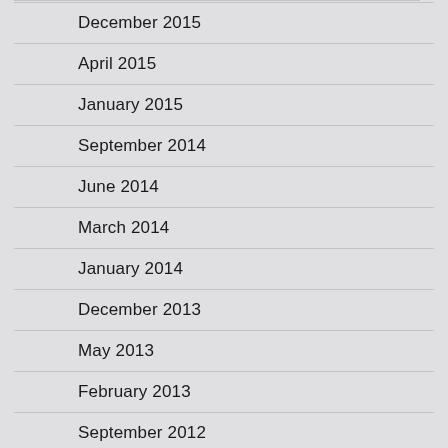December 2015
April 2015
January 2015
September 2014
June 2014
March 2014
January 2014
December 2013
May 2013
February 2013
September 2012
August 2012